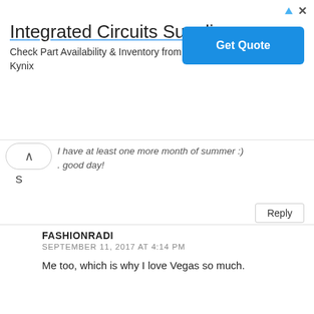[Figure (screenshot): Advertisement banner for Integrated Circuits Supplier by Kynix with a blue Get Quote button]
I have at least one more month of summer :) good day!
S
Reply
FASHIONRADI
SEPTEMBER 11, 2017 AT 4:14 PM
Me too, which is why I love Vegas so much.
Reply
STARSHINE BEAUTY
SEPTEMBER 6, 2017 AT 2:42 AM
This comment has been removed by the author.
Reply